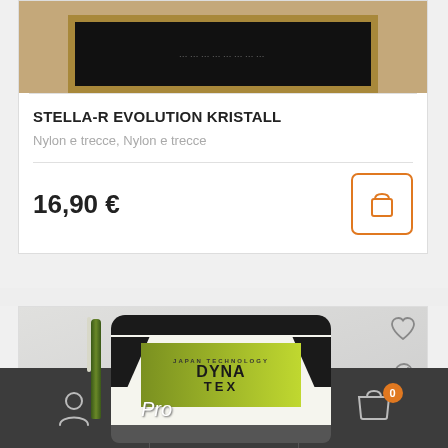[Figure (photo): Top portion of a product card showing a chalkboard-style sign on a wooden background]
STELLA-R EVOLUTION KRISTALL
Nylon e trecce, Nylon e trecce
16,90 €
[Figure (photo): Product image showing a jar of DYNA TEX Pro with green label and Japan Technology branding, with green and white sticks]
Navigation bar with user icon, search icon, and cart icon with badge showing 0